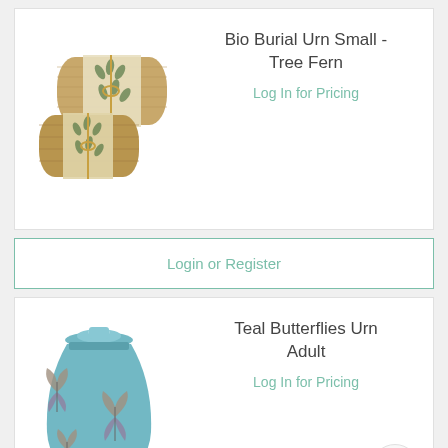[Figure (photo): Two pillow-shaped bio burial urns made of brown bamboo material decorated with green fern leaf patterns, tied with a natural cord.]
Bio Burial Urn Small - Tree Fern
Log In for Pricing
Login or Register
[Figure (photo): Teal blue vase-shaped cremation urn with silver butterfly decorative motifs and a silver lid rim.]
Teal Butterflies Urn Adult
Log In for Pricing